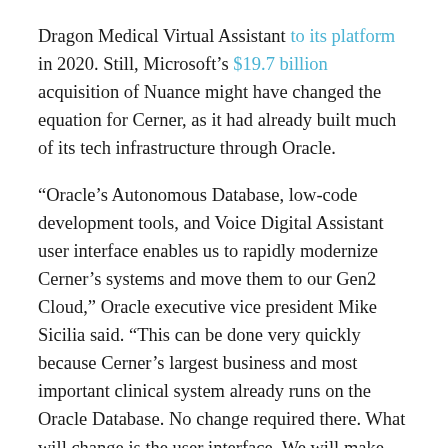Dragon Medical Virtual Assistant to its platform in 2020. Still, Microsoft's $19.7 billion acquisition of Nuance might have changed the equation for Cerner, as it had already built much of its tech infrastructure through Oracle.
“Oracle’s Autonomous Database, low-code development tools, and Voice Digital Assistant user interface enables us to rapidly modernize Cerner’s systems and move them to our Gen2 Cloud,” Oracle executive vice president Mike Sicilia said. “This can be done very quickly because Cerner’s largest business and most important clinical system already runs on the Oracle Database. No change required there. What will change is the user interface. We will make Cerner’s systems much easier to learn and use by making Oracle’s hands-free Voice Digital Assistant the primary interface to Cerner’s clinical systems. This will